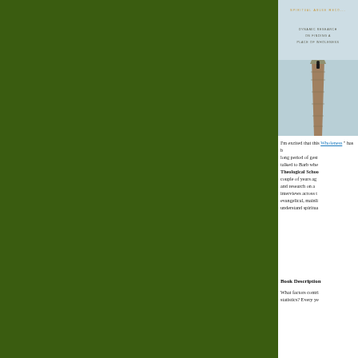[Figure (photo): Book cover for 'Spiritual Abuse Recovery' with subtitle 'Dynamic Research on Finding a Place of Wholeness'. Shows a figure standing at the end of a wooden pier, light blue sky background.]
I'm excited that this Wholeness " has been published after a long period of gestation. I first talked to Barb when she was at Theological School a couple of years ago and research on a interviews across the evangelical, mainli understand spiritua
Book Description
What factors contri statistics? Every ye